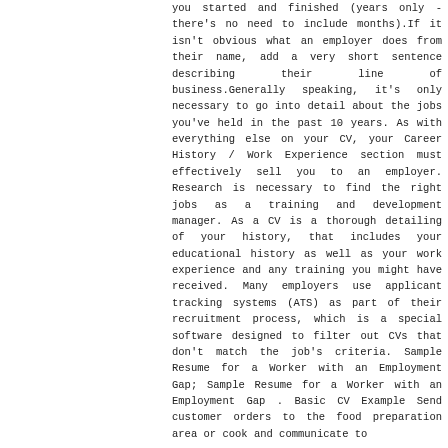you started and finished (years only - there's no need to include months).If it isn't obvious what an employer does from their name, add a very short sentence describing their line of business.Generally speaking, it's only necessary to go into detail about the jobs you've held in the past 10 years. As with everything else on your CV, your Career History / Work Experience section must effectively sell you to an employer. Research is necessary to find the right jobs as a training and development manager. As a CV is a thorough detailing of your history, that includes your educational history as well as your work experience and any training you might have received. Many employers use applicant tracking systems (ATS) as part of their recruitment process, which is a special software designed to filter out CVs that don't match the job's criteria. Sample Resume for a Worker with an Employment Gap; Sample Resume for a Worker with an Employment Gap . Basic CV Example Send customer orders to the food preparation area or cook and communicate to